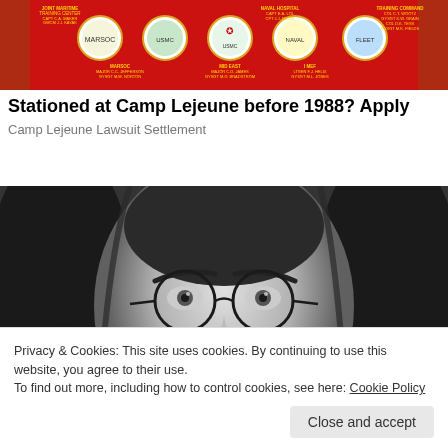[Figure (photo): Red military unit board with circular insignia patches, gold text listing military units including Joint Maritime Training Center, Marsoc, Naval Hospital, Midi East, I MEF, and Training Command]
Stationed at Camp Lejeune before 1988? Apply
Camp Lejeune Lawsuit Settlement
[Figure (photo): Black and white close-up photograph of a young person with long hair and round wire-frame glasses, looking directly at the camera]
Privacy & Cookies: This site uses cookies. By continuing to use this website, you agree to their use.
To find out more, including how to control cookies, see here: Cookie Policy